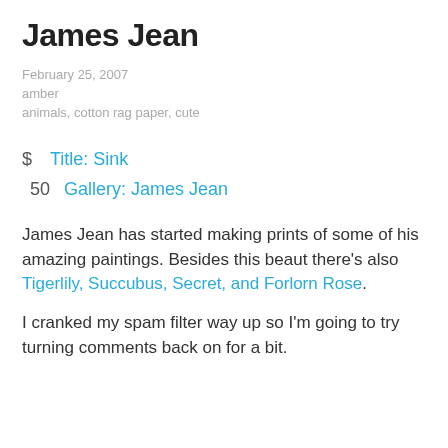James Jean
February 25, 2007
amber
animals, cotton rag paper, cute
$ Title: Sink
50 Gallery: James Jean
James Jean has started making prints of some of his amazing paintings. Besides this beaut there’s also Tigerlily, Succubus, Secret, and Forlorn Rose.
I cranked my spam filter way up so I’m going to try turning comments back on for a bit.